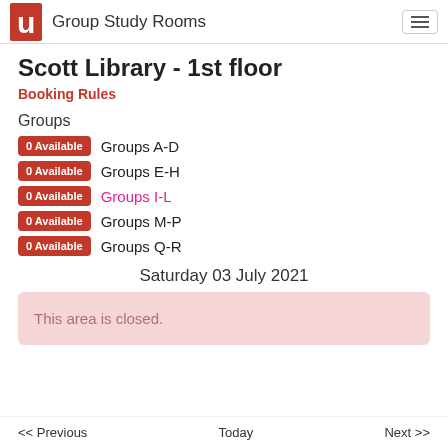Group Study Rooms
Scott Library - 1st floor
Booking Rules
Groups
0 Available  Groups A-D
0 Available  Groups E-H
0 Available  Groups I-L
0 Available  Groups M-P
0 Available  Groups Q-R
Saturday 03 July 2021
This area is closed.
<< Previous   Today   Next >>